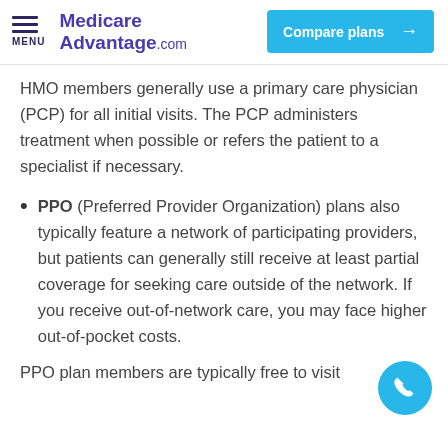Medicare Advantage.com | Compare plans →
HMO members generally use a primary care physician (PCP) for all initial visits. The PCP administers treatment when possible or refers the patient to a specialist if necessary.
PPO (Preferred Provider Organization) plans also typically feature a network of participating providers, but patients can generally still receive at least partial coverage for seeking care outside of the network. If you receive out-of-network care, you may face higher out-of-pocket costs.
PPO plan members are typically free to visit